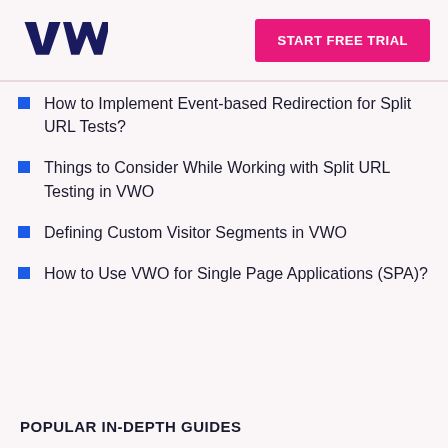VWO | START FREE TRIAL
How to Implement Event-based Redirection for Split URL Tests?
Things to Consider While Working with Split URL Testing in VWO
Defining Custom Visitor Segments in VWO
How to Use VWO for Single Page Applications (SPA)?
POPULAR IN-DEPTH GUIDES